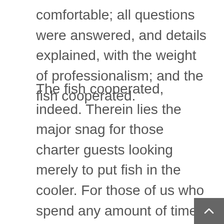comfortable; all questions were answered, and details explained, with the weight of professionalism; and the fish cooperated.
The fish cooperated, indeed. Therein lies the major snag for those charter guests looking merely to put fish in the cooler. For those of us who spend any amount of time on the water chasing those silly, unforgiving fish, this is something that we all deal with, from the best charter captain in the world to the worm-dunking, popsicle-eating kid on shore. When the fish don't want to eat, they won't bite any presentation, regardless of the angler's name, the kind of boat he drives, and how many patches he has on his shirt.